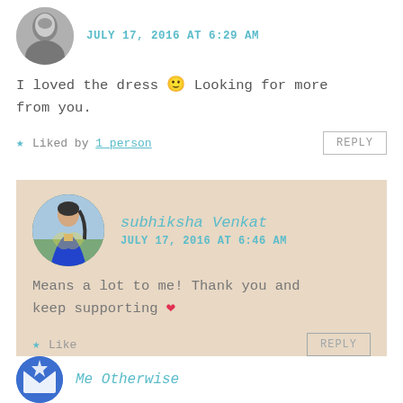JULY 17, 2016 AT 6:29 AM
I loved the dress 🙂 Looking for more from you.
★ Liked by 1 person
REPLY
subhiksha Venkat
JULY 17, 2016 AT 6:46 AM
Means a lot to me! Thank you and keep supporting ❤
★ Like
REPLY
Me Otherwise